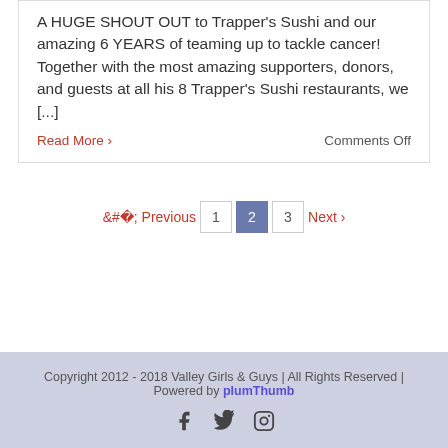A HUGE SHOUT OUT to Trapper's Sushi and our amazing 6 YEARS of teaming up to tackle cancer! Together with the most amazing supporters, donors, and guests at all his 8 Trapper's Sushi restaurants, we [...]
Read More
Comments Off
« Previous  1  2  3  Next »
Copyright 2012 - 2018 Valley Girls & Guys | All Rights Reserved | Powered by plumThumb